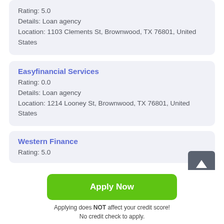Rating: 5.0
Details: Loan agency
Location: 1103 Clements St, Brownwood, TX 76801, United States
Easyfinancial Services
Rating: 0.0
Details: Loan agency
Location: 1214 Looney St, Brownwood, TX 76801, United States
Western Finance
Rating: 5.0
Apply Now
Applying does NOT affect your credit score!
No credit check to apply.